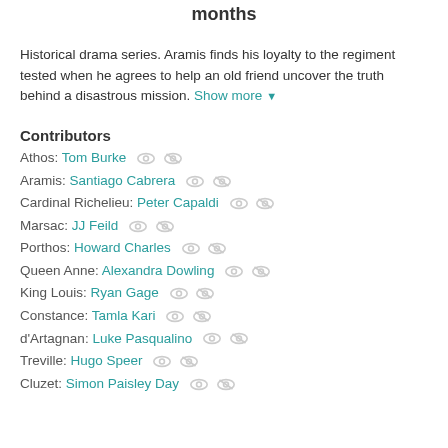months
Historical drama series. Aramis finds his loyalty to the regiment tested when he agrees to help an old friend uncover the truth behind a disastrous mission. Show more ▼
Contributors
Athos: Tom Burke
Aramis: Santiago Cabrera
Cardinal Richelieu: Peter Capaldi
Marsac: JJ Feild
Porthos: Howard Charles
Queen Anne: Alexandra Dowling
King Louis: Ryan Gage
Constance: Tamla Kari
d'Artagnan: Luke Pasqualino
Treville: Hugo Speer
Cluzet: Simon Paisley Day